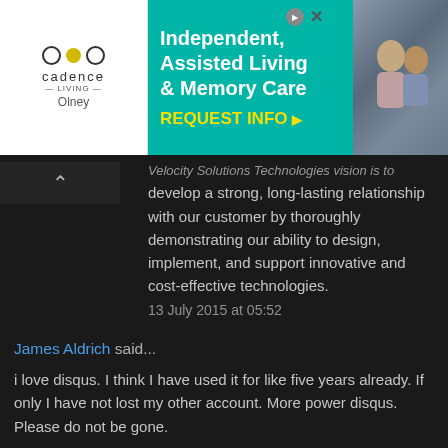[Figure (screenshot): Advertisement banner for Cadence Living - Independent, Assisted Living & Memory Care, Olney. Teal/green background with white bold text and yellow REQUEST INFO button. Logo on left, photo of elderly people on right.]
Velocity Solutions Technologies vision is to develop a strong, long-lasting relationship with our customer by thoroughly demonstrating our ability to design, implement, and support innovative and cost-effective technologies.
13 July 2015 at 05:52
James Aldrich said...
i love disqus. I think I have used it for like five years already. If only I have not lost my other account. More power disqus. Please do not be gone.
14 July 2015 at 08:28
peter said...
Need a hacker for general ethical hacks?